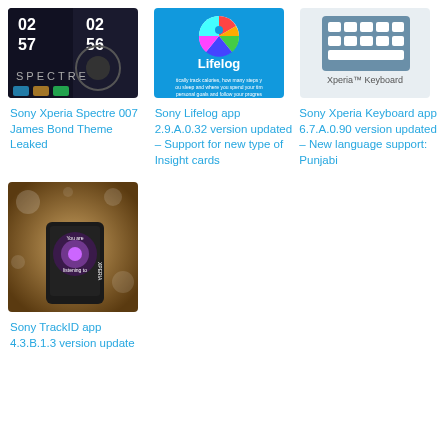[Figure (screenshot): Sony Xperia Spectre 007 James Bond Theme screenshot showing phone display with time 02:57 and 02:56]
Sony Xperia Spectre 007 James Bond Theme Leaked
[Figure (screenshot): Sony Lifelog app screenshot with colorful wheel icon and text about tracking calories and steps]
Sony Lifelog app 2.9.A.0.32 version updated – Support for new type of Insight cards
[Figure (screenshot): Sony Xperia Keyboard app screenshot showing keyboard icon on light background]
Sony Xperia Keyboard app 6.7.A.0.90 version updated – New language support: Punjabi
[Figure (photo): Sony TrackID app photo showing hand holding phone with app displayed against bokeh background]
Sony TrackID app 4.3.B.1.3 version update